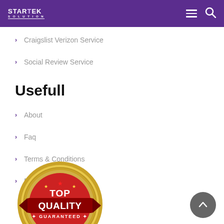STARTEK
Craigslist Verizon Service
Social Review Service
Usefull
About
Faq
Terms & Conditions
Refund Policy
[Figure (illustration): Red and gold circular badge with text TOP QUALITY GUARANTEED]